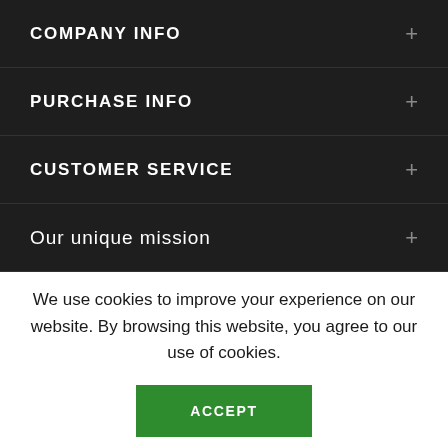COMPANY INFO +
PURCHASE INFO +
CUSTOMER SERVICE +
Our unique mission +
We use cookies to improve your experience on our website. By browsing this website, you agree to our use of cookies.
ACCEPT